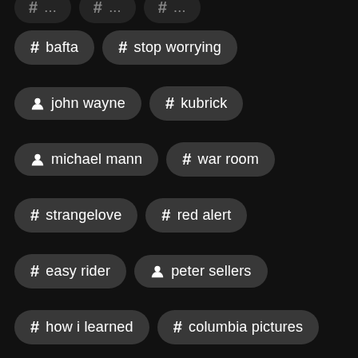# bafta
# stop worrying
person john wayne
# kubrick
person michael mann
# war room
# strangelove
# red alert
# easy rider
person peter sellers
# how i learned
# columbia pictures
person lawrence kasdan
# satirical
# slim pickens
# roared
person peter george
# adapted screenplay